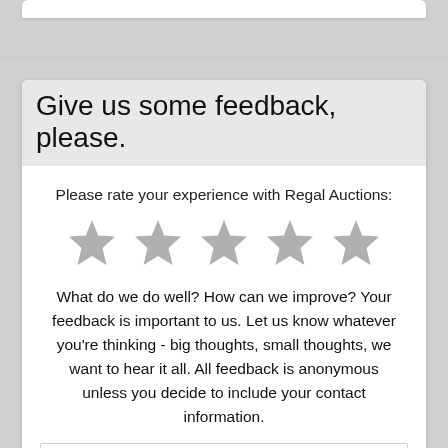Give us some feedback, please.
Please rate your experience with Regal Auctions:
[Figure (illustration): Five empty grey star rating icons in a row]
What do we do well? How can we improve? Your feedback is important to us. Let us know whatever you're thinking - big thoughts, small thoughts, we want to hear it all. All feedback is anonymous unless you decide to include your contact information.